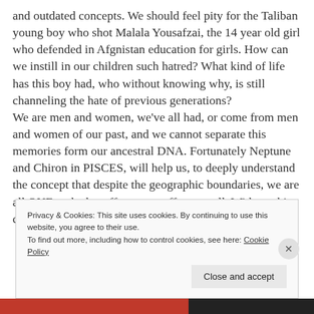and outdated concepts. We should feel pity for the Taliban young boy who shot Malala Yousafzai, the 14 year old girl who defended in Afgnistan education for girls. How can we instill in our children such hatred? What kind of life has this boy had, who without knowing why, is still channeling the hate of previous generations?
We are men and women, we've all had, or come from men and women of our past, and we cannot separate this memories form our ancestral DNA. Fortunately Neptune and Chiron in PISCES, will help us, to deeply understand the concept that despite the geographic boundaries, we are all ONE and what affects one, affects us all. Without this concept, Astrology would not be possible and
Privacy & Cookies: This site uses cookies. By continuing to use this website, you agree to their use.
To find out more, including how to control cookies, see here: Cookie Policy
Close and accept